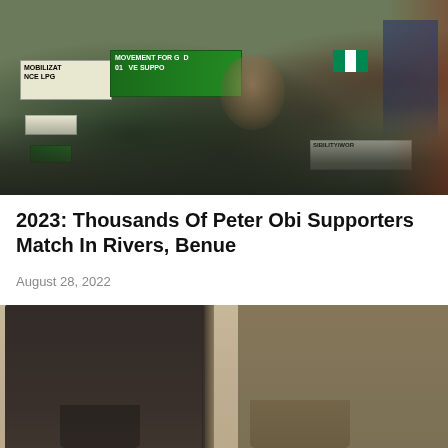[Figure (photo): Crowd of protesters holding banners and signs at a political rally. Signs visible include 'MOBILIZATION', 'MOVEMENT FOR GOOD', 'NCE LPGE', 'GIVE SUPPORT', and other text. Nigerian flag visible. People wearing colorful clothing.]
2023: Thousands Of Peter Obi Supporters Match In Rivers, Benue
August 28, 2022
[Figure (photo): Two men standing side by side. The man on the left is wearing a dark grey/charcoal suit jacket. The man on the right is wearing a khaki/olive colored jacket. Photo is cropped at the chest level.]